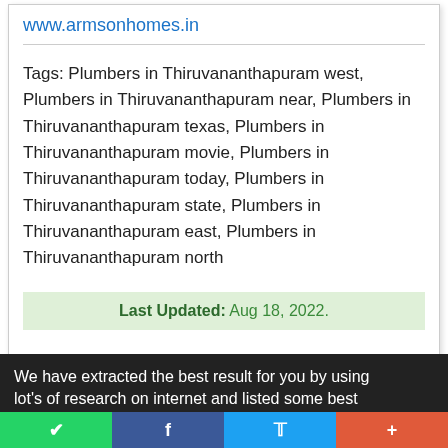www.armsonhomes.in
Tags: Plumbers in Thiruvananthapuram west, Plumbers in Thiruvananthapuram near, Plumbers in Thiruvananthapuram texas, Plumbers in Thiruvananthapuram movie, Plumbers in Thiruvananthapuram today, Plumbers in Thiruvananthapuram state, Plumbers in Thiruvananthapuram east, Plumbers in Thiruvananthapuram north
Last Updated: Aug 18, 2022.
We have extracted the best result for you by using lot's of research on internet and listed some best
WhatsApp | Facebook | Twitter | +